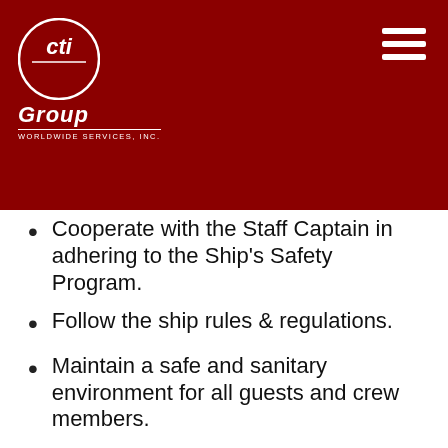[Figure (logo): CTi Group Worldwide Services Inc. logo — white circular emblem with stylized 'cti' letters on dark red background, with 'Group' in white italic bold text below and 'WORLDWIDE SERVICES, INC.' in small caps]
Cooperate with the Staff Captain in adhering to the Ship's Safety Program.
Follow the ship rules & regulations.
Maintain a safe and sanitary environment for all guests and crew members.
Follow proper procedures and instructions at all times to prevent damage of any kind to ship or company property.
Participate in safety drills as required.
Resources:
Possess knowledge of the Human Resources Manual and Shipboard Training